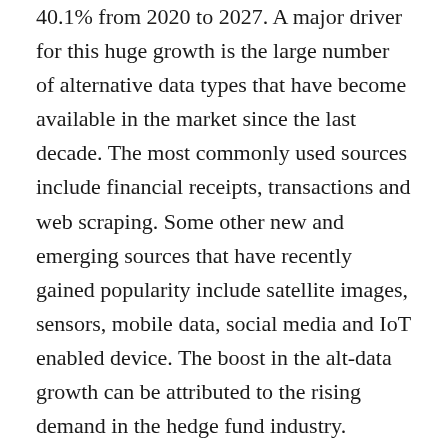40.1% from 2020 to 2027. A major driver for this huge growth is the large number of alternative data types that have become available in the market since the last decade. The most commonly used sources include financial receipts, transactions and web scraping. Some other new and emerging sources that have recently gained popularity include satellite images, sensors, mobile data, social media and IoT enabled device. The boost in the alt-data growth can be attributed to the rising demand in the hedge fund industry. Nowadays, majority of hedge funds managers are using alternative data to gain competitive advantage by outperforming the peers and supporting the risk management process.
For many years, alternative data was just considered an additional tool which was merely used to supplement the fundamental data. Companies sent interns and staff